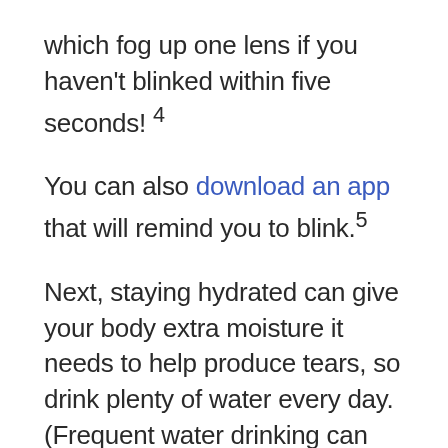which fog up one lens if you haven't blinked within five seconds! 4
You can also download an app that will remind you to blink.5
Next, staying hydrated can give your body extra moisture it needs to help produce tears, so drink plenty of water every day. (Frequent water drinking can also lead to frequent bathroom breaks, which get you away from the desktop screen, if not the